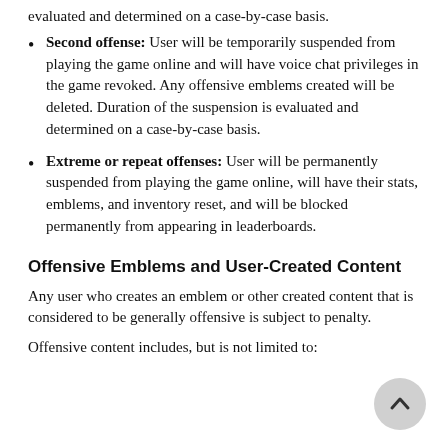Second offense: User will be temporarily suspended from playing the game online and will have voice chat privileges in the game revoked. Any offensive emblems created will be deleted. Duration of the suspension is evaluated and determined on a case-by-case basis.
Extreme or repeat offenses: User will be permanently suspended from playing the game online, will have their stats, emblems, and inventory reset, and will be blocked permanently from appearing in leaderboards.
Offensive Emblems and User-Created Content
Any user who creates an emblem or other created content that is considered to be generally offensive is subject to penalty.
Offensive content includes, but is not limited to: